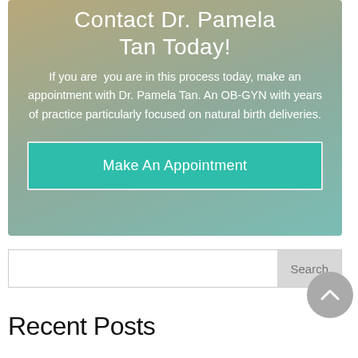[Figure (infographic): Gradient banner (tan to teal) with call-to-action text and appointment button for Dr. Pamela Tan OB-GYN]
Contact Dr. Pamela Tan Today!
If you are  you are in this process today, make an appointment with Dr. Pamela Tan. An OB-GYN with years of practice particularly focused on natural birth deliveries.
Make An Appointment
Search
Recent Posts